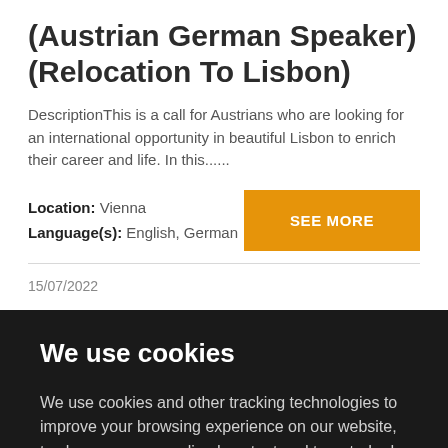(Austrian German Speaker) (Relocation To Lisbon)
DescriptionThis is a call for Austrians who are looking for an international opportunity in beautiful Lisbon to enrich their career and life. In this......
Location: Vienna
Language(s): English, German
SEE MORE
15/07/2022
We use cookies
We use cookies and other tracking technologies to improve your browsing experience on our website, to show you personalized content and targeted ads, to analyze our website traffic, and to